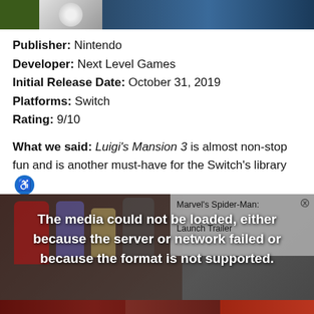[Figure (photo): Partial game screenshot banner at top of page showing green environment and character]
Publisher: Nintendo
Developer: Next Level Games
Initial Release Date: October 31, 2019
Platforms: Switch
Rating: 9/10
What we said: Luigi's Mansion 3 is almost non-stop fun and is another must-have for the Switch's library
[Figure (screenshot): Video player showing media error overlay: 'The media could not be loaded, either because the server or network failed or because the format is not supported.' with Marvel's Spider-Man: Launch Trailer popup and sports photo below]